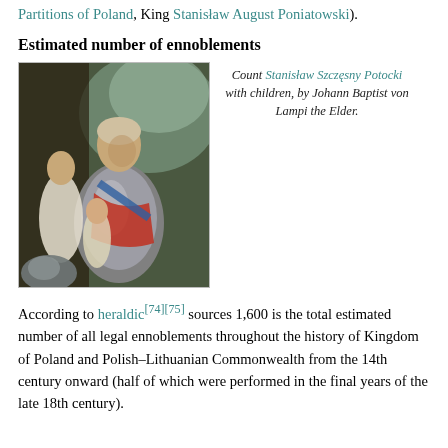Partitions of Poland, King Stanisław August Poniatowski).
Estimated number of ennoblements
[Figure (photo): Portrait painting of Count Stanisław Szczęsny Potocki with children, by Johann Baptist von Lampi the Elder.]
Count Stanisław Szczęsny Potocki with children, by Johann Baptist von Lampi the Elder.
According to heraldic[74][75] sources 1,600 is the total estimated number of all legal ennoblements throughout the history of Kingdom of Poland and Polish–Lithuanian Commonwealth from the 14th century onward (half of which were performed in the final years of the late 18th century).